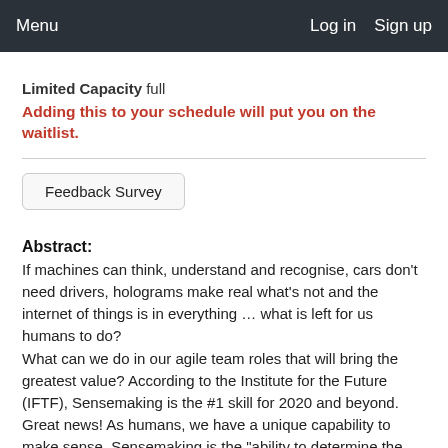Menu   Log in   Sign up
Limited Capacity full
Adding this to your schedule will put you on the waitlist.
Feedback Survey
Abstract:
If machines can think, understand and recognise, cars don't need drivers, holograms make real what's not and the internet of things is in everything … what is left for us humans to do?
What can we do in our agile team roles that will bring the greatest value? According to the Institute for the Future (IFTF), Sensemaking is the #1 skill for 2020 and beyond. Great news! As humans, we have a unique capability to make sense. Sensemaking is the "ability to determine the